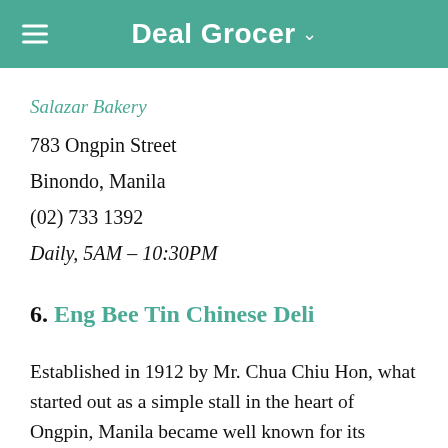Deal Grocer
Salazar Bakery
783 Ongpin Street
Binondo, Manila
(02) 733 1392
Daily, 5AM – 10:30PM
6. Eng Bee Tin Chinese Deli
Established in 1912 by Mr. Chua Chiu Hon, what started out as a simple stall in the heart of Ongpin, Manila became well known for its traditional Chinese